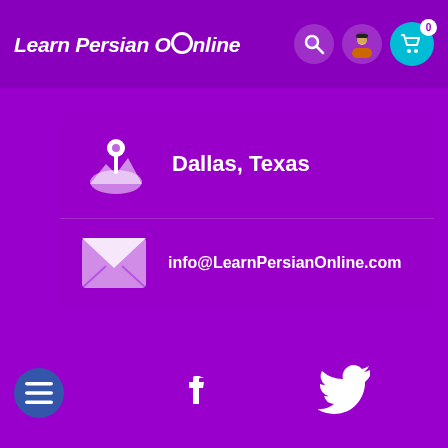Learn Persian Online
Dallas, Texas
info@LearnPersianOnline.com
[Figure (logo): Learn Persian Online website screenshot showing contact info with location Dallas, Texas and email info@LearnPersianOnline.com, with Facebook and Twitter social icons at bottom]